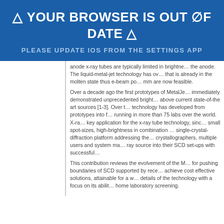⚠ YOUR BROWSER IS OUT OF DATE ⚠
PLEASE UPDATE IOS FROM THE SETTINGS APP
anode x-ray tubes are typically limited in brightness by the anode. The liquid-metal-jet technology has overcome this by using an anode that is already in the molten state thus e-beam power densities of several 10 mm are now feasible.
Over a decade ago the first prototypes of MetalJet x-ray sources were built and immediately demonstrated unprecedented brightness levels, an order of magnitude above current state-of-the art sources [1-3]. Over the years, the MetalJet technology has developed from prototypes into full commercial products currently running in more than 75 labs over the world. X-ray crystallography (XRD) is a key application for the x-ray tube technology, since single-crystal diffraction requires small spot-sizes, high-brightness in combination with a monochromatic beam. A single-crystal-diffraction platform addressing these needs was developed and crystallographers, multiple users and system manufacturers have integrated this x-ray source into their SCD set-ups with successful results.
This contribution reviews the evolvement of the MetalJet x-ray source technology for pushing boundaries of SCD supported by recent results, and the ambition to achieve cost effective solutions, attainable for a wider user community. Details of the technology with a focus on its abilities for SCD, including home laboratory screening.